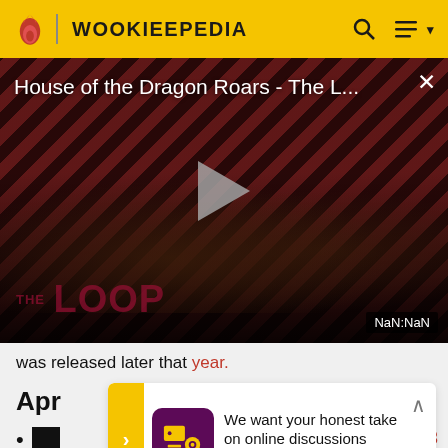WOOKIEEPEDIA
[Figure (screenshot): Video player thumbnail showing 'House of the Dragon Roars - The L...' with diagonal red/dark stripe background, play button, silhouette figures, THE LOOP branding, and NaN:NaN duration badge. Close X button in top right.]
was released later that year.
Apr
We want your honest take on online discussions
SURVEY: ONLINE FORUMS
43